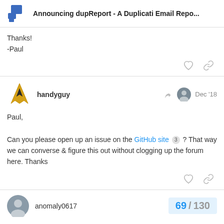Announcing dupReport - A Duplicati Email Repo...
Thanks!
-Paul
handyguy  Dec '18
Paul,

Can you please open up an issue on the GitHub site 3 ? That way we can converse & figure this out without clogging up the forum here. Thanks
anomaly0617  69 / 130